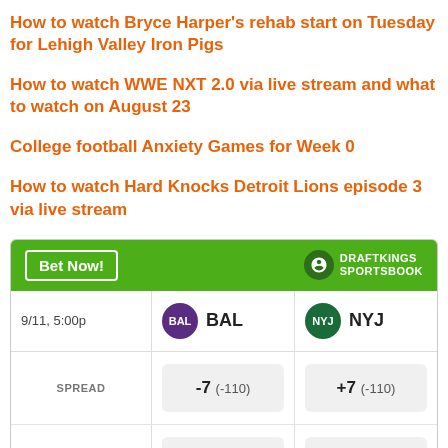How to watch Bryce Harper's rehab start on Tuesday for Lehigh Valley Iron Pigs
How to watch WWE NXT 2.0 via live stream and what to watch on August 23
College football Anxiety Games for Week 0
How to watch Hard Knocks Detroit Lions episode 3 via live stream
[Figure (infographic): DraftKings Sportsbook betting widget showing BAL vs NYJ matchup on 9/11 5:00p. Spread: BAL -7 (-110), NYJ +7 (-110). Money Line: BAL -295, NYJ +245. Over: > 45 (-110).]